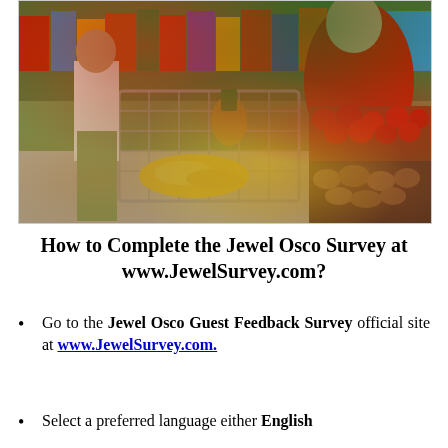[Figure (photo): Grocery store scene showing a shopping cart filled with produce and bananas, with a person in a red shirt holding a tomato near a display of red potatoes, tomatoes, and fresh produce in a supermarket]
How to Complete the Jewel Osco Survey at www.JewelSurvey.com?
Go to the Jewel Osco Guest Feedback Survey official site at www.JewelSurvey.com.
Select a preferred language either English